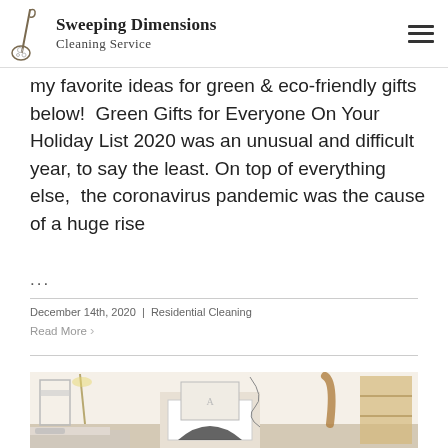Sweeping Dimensions Cleaning Service
my favorite ideas for green & eco-friendly gifts below!  Green Gifts for Everyone On Your Holiday List 2020 was an unusual and difficult year, to say the least. On top of everything else,  the coronavirus pandemic was the cause of a huge rise ...
December 14th, 2020  |  Residential Cleaning
Read More >
[Figure (photo): Interior room photo showing a minimalist living space with a fireplace, framed artwork, a floor lamp, shelving unit on the right, and cozy furnishings.]